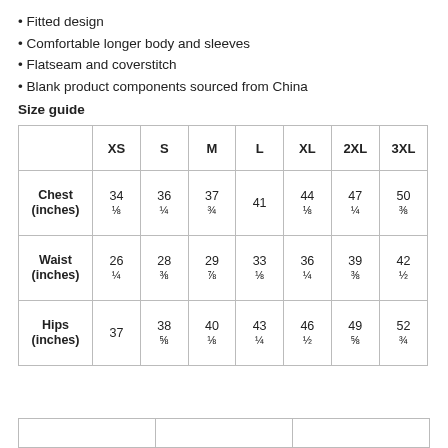Fitted design
Comfortable longer body and sleeves
Flatseam and coverstitch
Blank product components sourced from China
Size guide
|  | XS | S | M | L | XL | 2XL | 3XL |
| --- | --- | --- | --- | --- | --- | --- | --- |
| Chest (inches) | 34 ⅛ | 36 ¼ | 37 ¾ | 41 | 44 ⅛ | 47 ¼ | 50 ⅜ |
| Waist (inches) | 26 ¼ | 28 ⅜ | 29 ⅞ | 33 ⅛ | 36 ¼ | 39 ⅜ | 42 ½ |
| Hips (inches) | 37 | 38 ⅝ | 40 ⅛ | 43 ¼ | 46 ½ | 49 ⅝ | 52 ¾ |